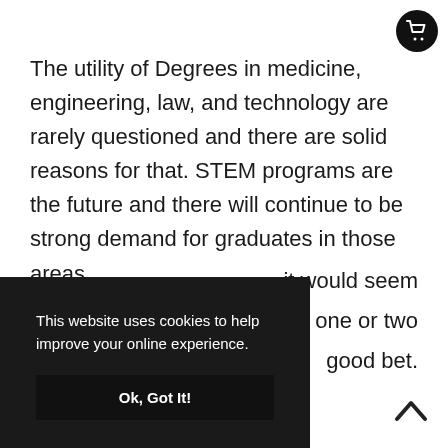[Figure (other): Shopping cart icon button in top-right corner, white cart icon on black circle background]
The utility of Degrees in medicine, engineering, law, and technology are rarely questioned and there are solid reasons for that. STEM programs are the future and there will continue to be strong demand for graduates in those areas.
[Figure (screenshot): Cookie consent overlay with dark background. Text reads: 'This website uses cookies to help improve your online experience.' with an 'Ok, Got It!' button below.]
it would seem one or two good bet.
[Figure (other): Scroll-to-top arrow chevron icon in bottom-right corner]